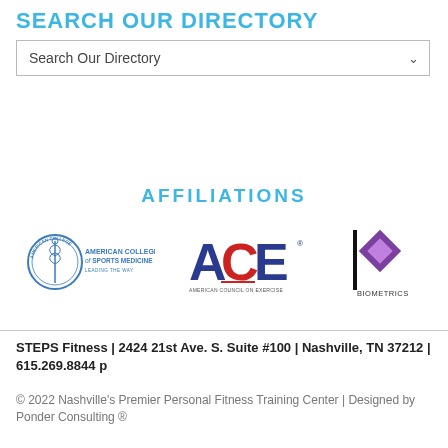SEARCH OUR DIRECTORY
Search Our Directory
AFFILIATIONS
[Figure (logo): American College of Sports Medicine logo — circular emblem with caduceus and text 'AMERICAN COLLEGE of SPORTS MEDICINE LEADING THE WAY']
[Figure (logo): ACE — American Council on Exercise logo with large A, C, E letters in blue and red]
[Figure (logo): Biometrics logo — vertical black bar with purple diamond/square shape and text 'BIOMETRICS']
STEPS Fitness | 2424 21st Ave. S. Suite #100 | Nashville, TN 37212 | 615.269.8844 p
© 2022 Nashville's Premier Personal Fitness Training Center | Designed by Ponder Consulting ®